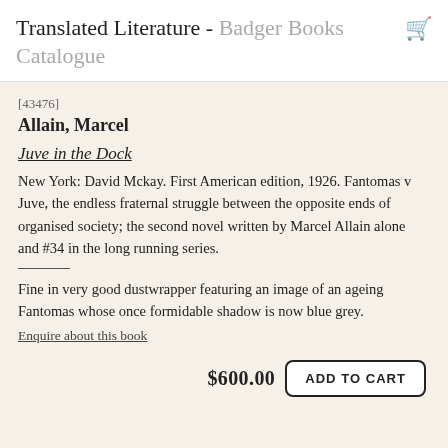Translated Literature - Badger Books Catalogue
[43476]
Allain, Marcel
Juve in the Dock
New York: David Mckay. First American edition, 1926. Fantomas v Juve, the endless fraternal struggle between the opposite ends of organised society; the second novel written by Marcel Allain alone and #34 in the long running series.
Fine in very good dustwrapper featuring an image of an ageing Fantomas whose once formidable shadow is now blue grey.
Enquire about this book
$600.00
ADD TO CART